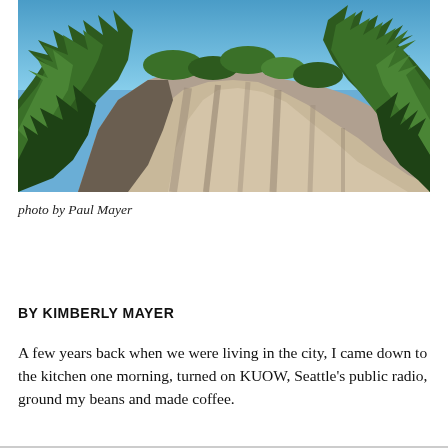[Figure (photo): Outdoor photograph of a steep rocky cliff face covered with green conifer trees (likely fir or cedar) against a blue sky. The cliff shows exposed grey-brown rock with vertical striations. Dense forest surrounds the cliff on both sides.]
photo by Paul Mayer
BY KIMBERLY MAYER
A few years back when we were living in the city, I came down to the kitchen one morning, turned on KUOW, Seattle's public radio, ground my beans and made coffee.